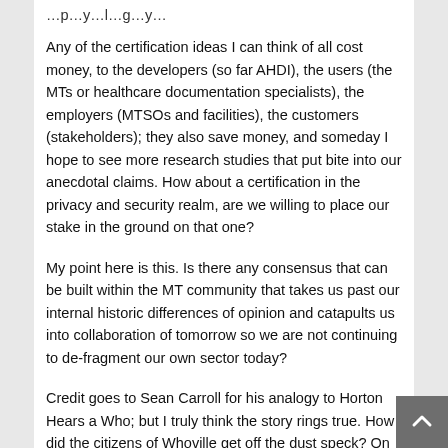Any of the certification ideas I can think of all cost money, to the developers (so far AHDI), the users (the MTs or healthcare documentation specialists), the employers (MTSOs and facilities), the customers (stakeholders); they also save money, and someday I hope to see more research studies that put bite into our anecdotal claims. How about a certification in the privacy and security realm, are we willing to place our stake in the ground on that one?
My point here is this. Is there any consensus that can be built within the MT community that takes us past our internal historic differences of opinion and catapults us into collaboration of tomorrow so we are not continuing to de-fragment our own sector today?
Credit goes to Sean Carroll for his analogy to Horton Hears a Who; but I truly think the story rings true. How did the citizens of Whoville get off the dust speck? On the very same day, at the very same time, in unison they hollered… we're here, we're